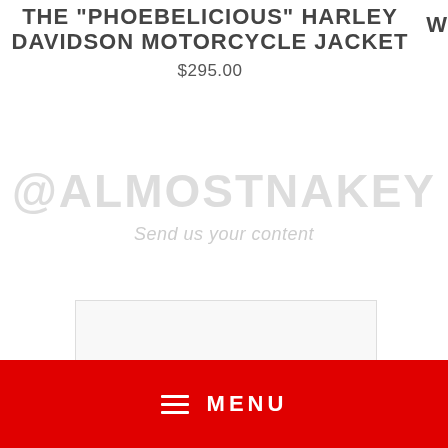THE "PHOEBELICIOUS" HARLEY DAVIDSON MOTORCYCLE JACKET
$295.00
@ALMOSTNAKEY
Send us your content
[Figure (photo): Image placeholder / content submission area with light border]
MENU